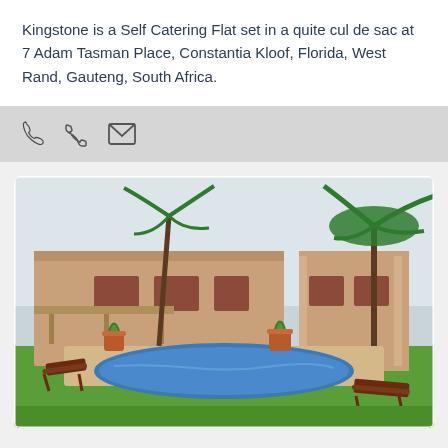Kingstone is a Self Catering Flat set in a quite cul de sac at 7 Adam Tasman Place, Constantia Kloof, Florida, West Rand, Gauteng, South Africa.
[Figure (other): Icon bar with phone and email icons on grey background]
[Figure (photo): Exterior view of a large tan/beige house with a swimming pool, palm trees, lawn chairs, and green grass in the foreground. Located in South Africa.]